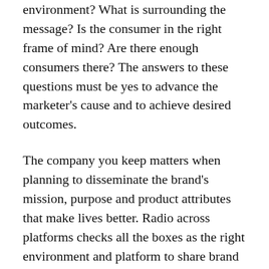environment? What is surrounding the message? Is the consumer in the right frame of mind? Are there enough consumers there? The answers to these questions must be yes to advance the marketer's cause and to achieve desired outcomes.
The company you keep matters when planning to disseminate the brand's mission, purpose and product attributes that make lives better. Radio across platforms checks all the boxes as the right environment and platform to share brand stories.
Radio is trusted. It is trusted more than any other media, including over two times more than social media.